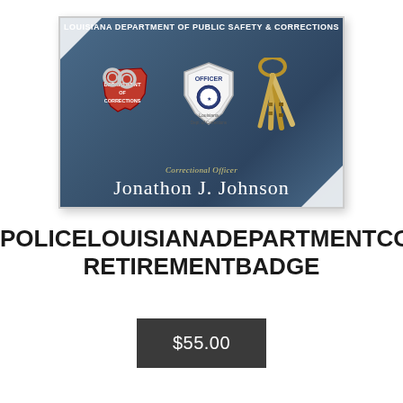[Figure (photo): Louisiana Department of Public Safety & Corrections retirement badge plaque showing a correctional officer badge, red Louisiana-shaped badge, handcuffs, keys, and the name Jonathon J. Johnson with title Correctional Officer]
POLICELOUISIANADEPARTMENTCORR RETIREMENTBADGE
$55.00